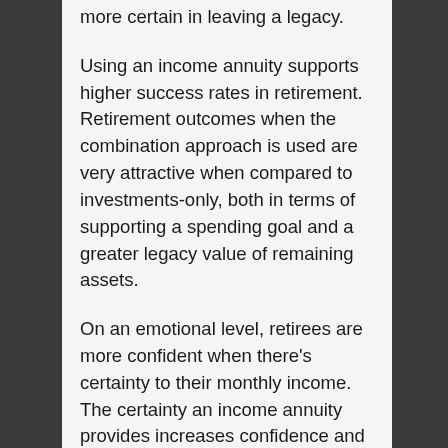more certain in leaving a legacy.
Using an income annuity supports higher success rates in retirement. Retirement outcomes when the combination approach is used are very attractive when compared to investments-only, both in terms of supporting a spending goal and a greater legacy value of remaining assets.
On an emotional level, retirees are more confident when there's certainty to their monthly income. The certainty an income annuity provides increases confidence and reduces stress in retirement.
“If the hard numbers and math don’t